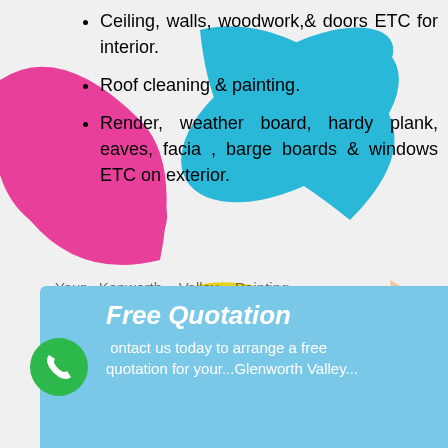[Figure (illustration): Colorful paint splashes (pink/magenta, cyan/blue, yellow, dark gray) with a hand holding an open paint can, serving as background]
Ceiling, walls, woodwork,& doors ETC for interior.
Roof cleaning & painting.
Render, weather board, hardy plank, eaves, facia , barge boards & windows ETC on exterior.
Your Kenworth Valley Painting Specialists
Free Quotation
Contact us today to arrange a free quotation for your...Glenworth Valley...